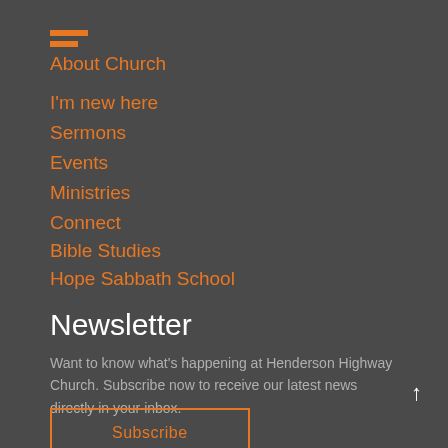About Church
I'm new here
Sermons
Events
Ministries
Connect
Bible Studies
Hope Sabbath School
Newsletter
Want to know what's happening at Henderson Highway Church. Subscribe now to receive our latest news directly in your inbox.
Subscribe